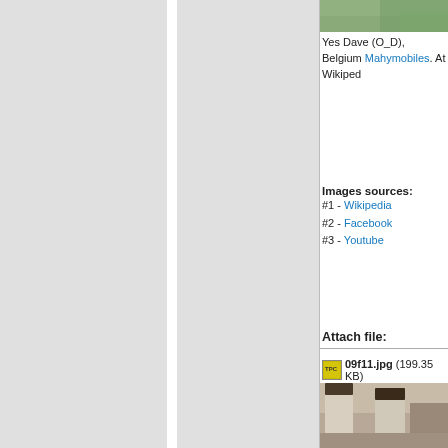[Figure (photo): Top portion of a landscape/architectural photo, green tones, partially visible at top of right panel]
Yes Dave (O_D), Belgium Mahymobiles. At Wikipedia
Images sources:
#1 - Wikipedia
#2 - Facebook
#3 - Youtube
Attach file:
09f11.jpg (199.35 KB)
[Figure (photo): Black and white historical photo showing tall chimney stacks or towers of a building]